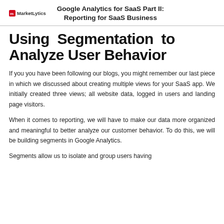Google Analytics for SaaS Part II: Reporting for SaaS Business
Using Segmentation to Analyze User Behavior
If you you have been following our blogs, you might remember our last piece in which we discussed about creating multiple views for your SaaS app. We initially created three views; all website data, logged in users and landing page visitors.
When it comes to reporting, we will have to make our data more organized and meaningful to better analyze our customer behavior. To do this, we will be building segments in Google Analytics.
Segments allow us to isolate and group users having